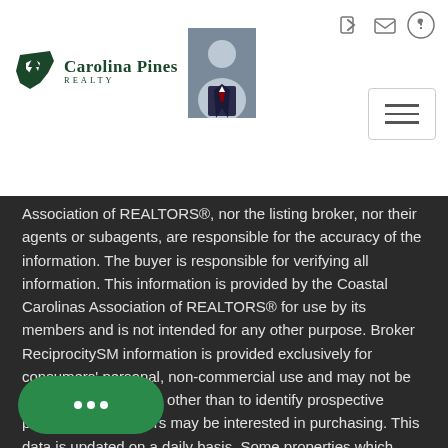[Figure (logo): Carolina Pines Realty logo with green South Carolina state shape icon, text 'Carolina Pines REALTY']
[Figure (photo): Agent headshot photo – man in suit and tie]
Association of REALTORS®, nor the listing broker, nor their agents or subagents, are responsible for the accuracy of the information. The buyer is responsible for verifying all information. This information is provided by the Coastal Carolinas Association of REALTORS® for use by its members and is not intended for any other purpose. Broker ReciprocitySM information is provided exclusively for consumers' personal, non-commercial use and may not be used for any purpose other than to identify prospective properties consumers may be interested in purchasing. This data is updated on a daily basis. Some properties which appear for sale on this web site may subsequently have [been sold and] no longer be available. August 28, 2022 5:35 AM